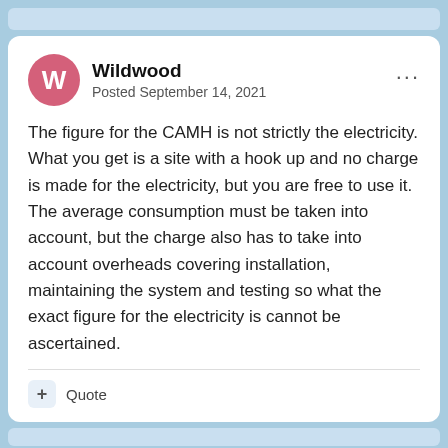Wildwood
Posted September 14, 2021
The figure for the CAMH is not strictly the electricity. What you get is a site with a hook up and no charge is made for the electricity, but you are free to use it. The average consumption must be taken into account, but the charge also has to take into account overheads covering installation, maintaining the system and testing so what the exact figure for the electricity is cannot be ascertained.
+ Quote